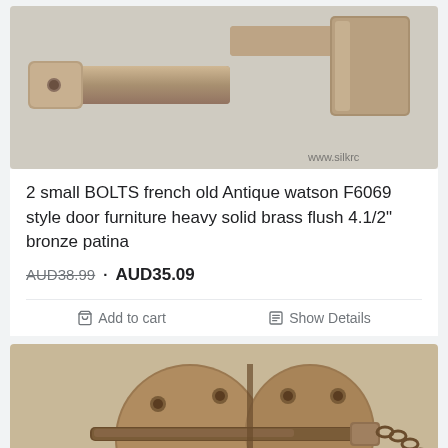[Figure (photo): Close-up photo of two antique brass flush bolts against a white/grey background, with partial watermark 'www.silkrc' visible in bottom right corner]
2 small BOLTS french old Antique watson F6069 style door furniture heavy solid brass flush 4.1/2" bronze patina
AUD38.99 · AUD35.09
Add to cart   Show Details
[Figure (photo): Photo of a large round antique bronze/brass hasp lock mechanism with chain and padlock, showing circular bolt plate hardware]